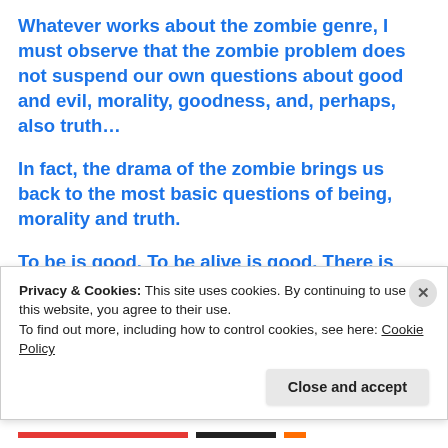Whatever works about the zombie genre, I must observe that the zombie problem does not suspend our own questions about good and evil, morality, goodness, and, perhaps, also truth…
In fact, the drama of the zombie brings us back to the most basic questions of being, morality and truth.
To be is good. To be alive is good. There is certain objective truth about the goodness of being and life – however, primary and elementary. To fight to stay alive is good – generally speaking.
Privacy & Cookies: This site uses cookies. By continuing to use this website, you agree to their use.
To find out more, including how to control cookies, see here: Cookie Policy
Close and accept